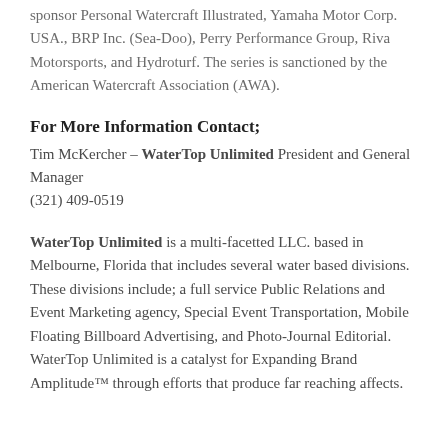sponsor Personal Watercraft Illustrated, Yamaha Motor Corp. USA., BRP Inc. (Sea-Doo), Perry Performance Group, Riva Motorsports, and Hydroturf. The series is sanctioned by the American Watercraft Association (AWA).
For More Information Contact;
Tim McKercher – WaterTop Unlimited President and General Manager
(321) 409-0519
WaterTop Unlimited is a multi-facetted LLC. based in Melbourne, Florida that includes several water based divisions. These divisions include; a full service Public Relations and Event Marketing agency, Special Event Transportation, Mobile Floating Billboard Advertising, and Photo-Journal Editorial. WaterTop Unlimited is a catalyst for Expanding Brand Amplitude™ through efforts that produce far reaching affects.